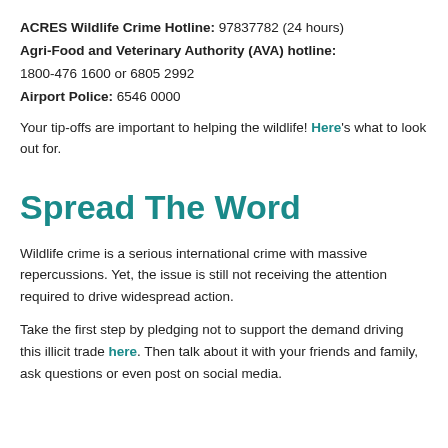ACRES Wildlife Crime Hotline: 97837782 (24 hours) Agri-Food and Veterinary Authority (AVA) hotline: 1800-476 1600 or 6805 2992 Airport Police: 6546 0000
Your tip-offs are important to helping the wildlife! Here's what to look out for.
Spread The Word
Wildlife crime is a serious international crime with massive repercussions. Yet, the issue is still not receiving the attention required to drive widespread action.
Take the first step by pledging not to support the demand driving this illicit trade here. Then talk about it with your friends and family, ask questions or even post on social media.